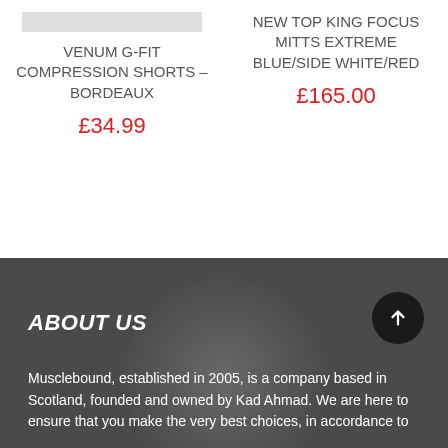VENUM G-FIT COMPRESSION SHORTS – BORDEAUX
£34.99
NEW TOP KING FOCUS MITTS EXTREME BLUE/SIDE WHITE/RED
£165.00
ABOUT US
Musclebound, established in 2005, is a company based in Scotland, founded and owned by Kad Ahmad. We are here to ensure that you make the very best choices, in accordance to